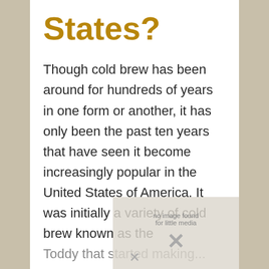States?
Though cold brew has been around for hundreds of years in one form or another, it has only been the past ten years that have seen it become increasingly popular in the United States of America. It was initially a variety of cold brew known as the Toddy that started making...